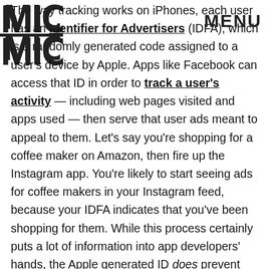MIC | MENU
The way tracking works on iPhones, each user has an Identifier for Advertisers (IDFA), which is a randomly generated code assigned to a user's device by Apple. Apps like Facebook can access that ID in order to track a user's activity — including web pages visited and apps used — then serve that user ads meant to appeal to them. Let's say you're shopping for a coffee maker on Amazon, then fire up the Instagram app. You're likely to start seeing ads for coffee makers in your Instagram feed, because your IDFA indicates that you've been shopping for them. While this process certainly puts a lot of information into app developers' hands, the Apple generated ID does prevent those apps from ever knowing exactly who the user is. Essentially, an app — say, Facebook, — may know every